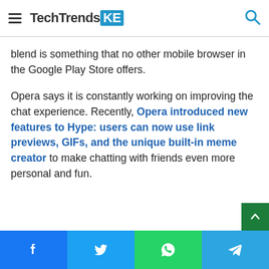TechTrendsKE
blend is something that no other mobile browser in the Google Play Store offers.
Opera says it is constantly working on improving the chat experience. Recently, Opera introduced new features to Hype: users can now use link previews, GIFs, and the unique built-in meme creator to make chatting with friends even more personal and fun.
Facebook | Twitter | WhatsApp | Telegram